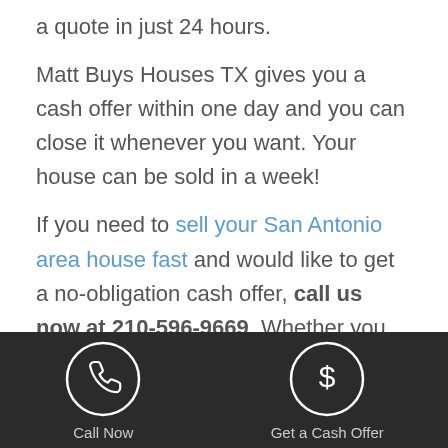a quote in just 24 hours.

Matt Buys Houses TX gives you a cash offer within one day and you can close it whenever you want. Your house can be sold in a week!

If you need to sell your San Antonio area house fast and would like to get a no-obligation cash offer, call us now at 210-596-9669. Whether you decide to sell your house to us or not, we would like to help answer questions you might have about the
[Figure (infographic): Dark footer bar with two circular icon buttons: a phone icon labeled 'Call Now' and a dollar sign icon labeled 'Get a Cash Offer']